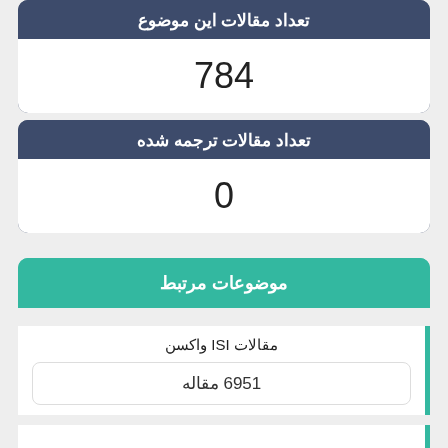تعداد مقالات این موضوع
784
تعداد مقالات ترجمه شده
0
موضوعات مرتبط
مقالات ISI واکسن
6951 مقاله